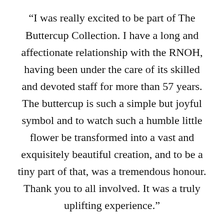“I was really excited to be part of The Buttercup Collection. I have a long and affectionate relationship with the RNOH, having been under the care of its skilled and devoted staff for more than 57 years. The buttercup is such a simple but joyful symbol and to watch such a humble little flower be transformed into a vast and exquisitely beautiful creation, and to be a tiny part of that, was a tremendous honour. Thank you to all involved. It was a truly uplifting experience.”